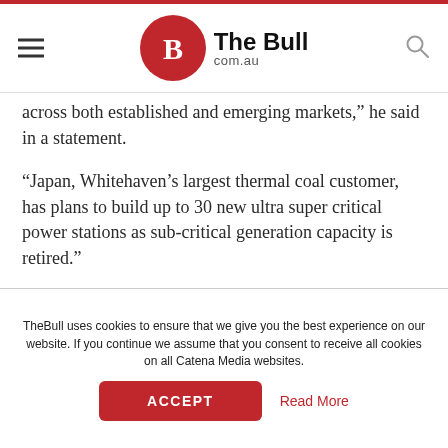The Bull com.au
across both established and emerging markets,” he said in a statement.
“Japan, Whitehaven’s largest thermal coal customer, has plans to build up to 30 new ultra super critical power stations as sub-critical generation capacity is retired.”
The company said it had received an average price of $US130 a tonne for its coal during the year, up from $112 per tonne in the previous year.
TheBull uses cookies to ensure that we give you the best experience on our website. If you continue we assume that you consent to receive all cookies on all Catena Media websites.